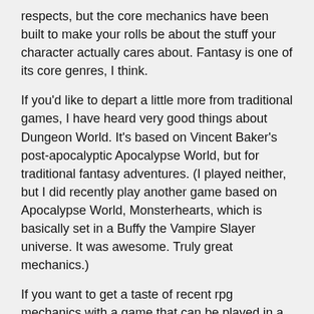respects, but the core mechanics have been built to make your rolls be about the stuff your character actually cares about. Fantasy is one of its core genres, I think.
If you'd like to depart a little more from traditional games, I have heard very good things about Dungeon World. It's based on Vincent Baker's post-apocalyptic Apocalypse World, but for traditional fantasy adventures. (I played neither, but I did recently play another game based on Apocalypse World, Monsterhearts, which is basically set in a Buffy the Vampire Slayer universe. It was awesome. Truly great mechanics.)
If you want to get a taste of recent rpg mechanics with a game that can be played in a single evening, I cannot recommend Fiasco highly enough. It is a humorous game about hapless petty criminals who get into all sorts of trouble, and it is played without a Game Master.
But let me know what you are most interested in, in terms of setting, theme, number of players, length of game, and so on, and maybe